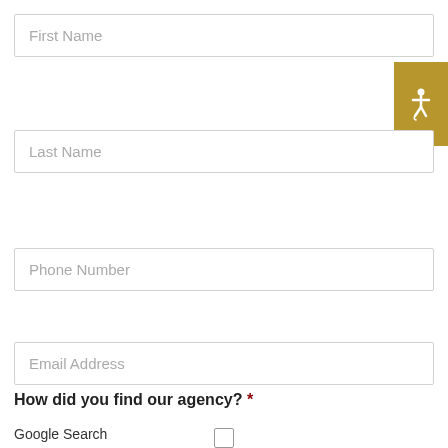First Name
Last Name
Phone Number
Email Address
How did you find our agency? *
Google Search